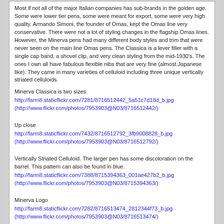Most if not all of the major Italian companies has sub-brands in the golden age. Some were lower tier pens, some were meant for export, some were very high quality. Armando Simoni, the founder of Omas, kept the Omas line very conservative. There were not a lot of styling changes in the flagship Omas lines. However, the Minerva pens had many different body styles and trim that were never seen on the main line Omas pens. The Classica is a lever filler with a single cap band, a shovel clip, and very clean styling from the mid-1930's. The ones I own all have fabulous flexible nibs that are very fine (almost Japanese like). They came in many varieties of celluloid including three unique vertically striated celluloids.
Minerva Classica is two sizes.
http://farm8.staticflickr.com/7281/8716512442_5a51c7d18d_b.jpg
(http://www.flickr.com/photos/7953903@N03/8716512442/)
Up close
http://farm8.staticflickr.com/7432/8716512792_3fb9008828_b.jpg
(http://www.flickr.com/photos/7953903@N03/8716512792/)
Vertically Striated Celluloid. The larger pen has some discoloration on the barrel. This pattern can also be found in blue.
http://farm8.staticflickr.com/7388/8715394363_001ae427b2_b.jpg
(http://www.flickr.com/photos/7953903@N03/8715394363/)
Minerva Logo
http://farm8.staticflickr.com/7282/8716513474_2812344f73_b.jpg
(http://www.flickr.com/photos/7953903@N03/8716513474/)
Very fine nibs
http://farm8.staticflickr.com/7451/8716513804_d5176daecb_b.jpg
(http://www.flickr.com/photos/7953903@N03/8716513804/)